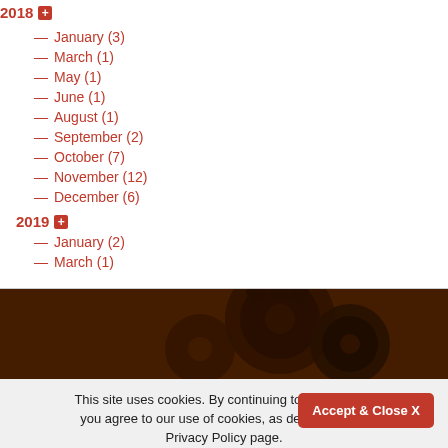2018 +
— January (3)
— March (1)
— May (1)
— June (1)
— August (1)
— September (2)
— October (7)
— November (12)
— December (6)
2019 +
— January (2)
— March (1)
[Figure (photo): Close-up photo of dark mechanical gears/cogs]
This site uses cookies. By continuing to use this site you agree to our use of cookies, as detailed in our Privacy Policy page.
More info